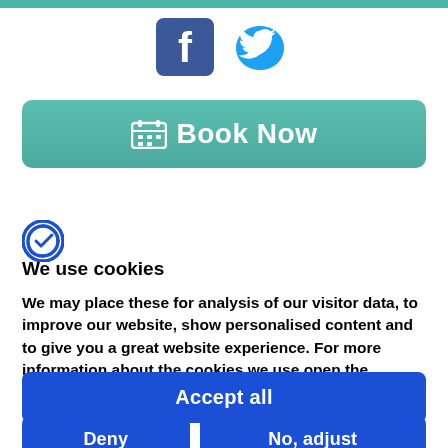[Figure (logo): Facebook and Twitter social media icons]
[Figure (other): Book Now button with calendar icon on teal/green background]
Privacy policy
[Figure (logo): Cookiebot logo - stylized C with check mark]
We use cookies
We may place these for analysis of our visitor data, to improve our website, show personalised content and to give you a great website experience. For more information about the cookies we use open the settings.
[Figure (other): Accept all button (blue)]
[Figure (other): Deny and No, adjust buttons (blue)]